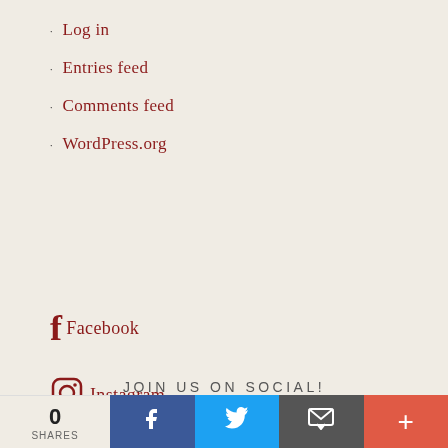Log in
Entries feed
Comments feed
WordPress.org
Facebook
Instagram
JOIN US ON SOCIAL!
0 SHARES | Facebook share | Twitter share | Email share | More